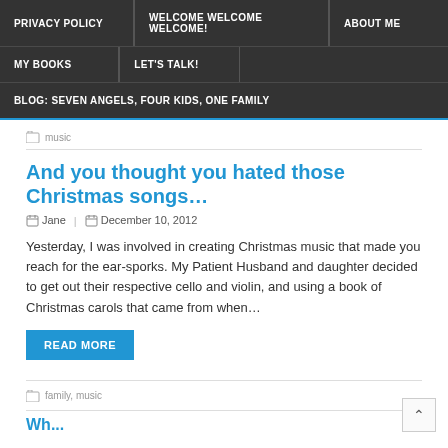PRIVACY POLICY | WELCOME WELCOME WELCOME! | ABOUT ME | MY BOOKS | LET'S TALK! | BLOG: SEVEN ANGELS, FOUR KIDS, ONE FAMILY
music
And you thought you hated those Christmas songs…
Jane | December 10, 2012
Yesterday, I was involved in creating Christmas music that made you reach for the ear-sporks. My Patient Husband and daughter decided to get out their respective cello and violin, and using a book of Christmas carols that came from when…
READ MORE
family, music